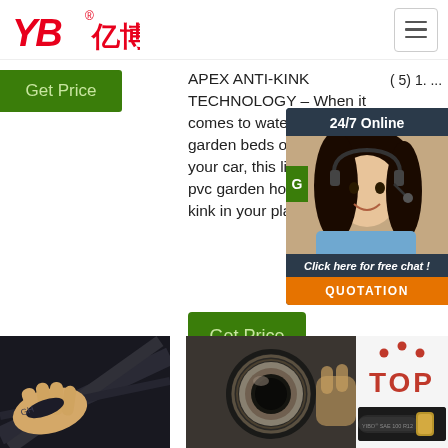[Figure (logo): YB亿博 logo in red italic text with registered trademark symbol]
[Figure (illustration): Hamburger menu button icon (three horizontal lines) in rounded rectangle]
Get Price
(5) 1. ...
APEX ANTI-KINK TECHNOLOGY – When it comes to watering your garden beds or washing your car, this lightweight, pvc garden hose won't put a kink in your plans thanks ...
[Figure (photo): 24/7 Online customer service widget with female agent wearing headset, click here for free chat, QUOTATION button]
Get Price
[Figure (photo): Person holding black hydraulic hose/cable]
[Figure (photo): Close-up cross-section end of hydraulic hose]
[Figure (logo): TOP logo with red dot arc design and YIBO SAE 100 R12 product label at bottom]